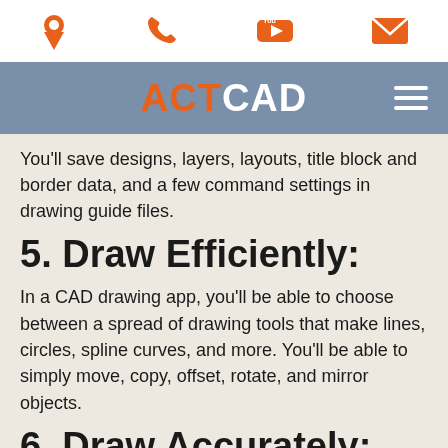[icon bar: location pin, phone, YouTube, envelope]
[Figure (logo): ACTCAD logo with hamburger menu on steel-blue navigation bar]
You'll save designs, layers, layouts, title block and border data, and a few command settings in drawing guide files.
5. Draw Efficiently:
In a CAD drawing app, you'll be able to choose between a spread of drawing tools that make lines, circles, spline curves, and more. You'll be able to simply move, copy, offset, rotate, and mirror objects.
6. Draw Accurately:
With a CAD drawing app, you'll be able to use many strategies to get actual dimensions, the only